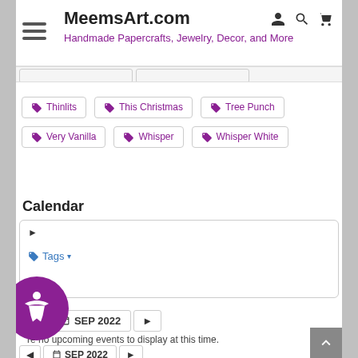MeemsArt.com
Handmade Papercrafts, Jewelry, Decor, and More
Thinlits
This Christmas
Tree Punch
Very Vanilla
Whisper
Whisper White
Calendar
Tags
SEP 2022
There are no upcoming events to display at this time.
SEP 2022